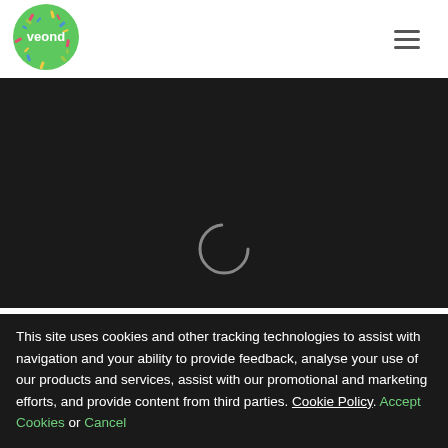[Figure (logo): Veond logo: green circle with colorful confetti sprinkles and white text 'veond' in the center]
[Figure (other): Hamburger menu icon (three horizontal lines)]
[Figure (other): Dark background section with a loading spinner (partial circle arc) in the center]
This site uses cookies and other tracking technologies to assist with navigation and your ability to provide feedback, analyse your use of our products and services, assist with our promotional and marketing efforts, and provide content from third parties. Cookie Policy. Accept Cookies or Cancel